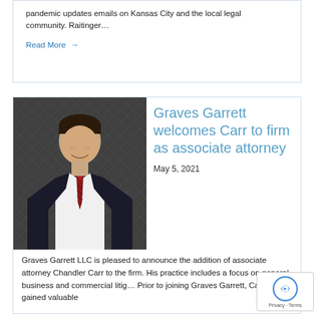pandemic updates emails on Kansas City and the local legal community. Raitinger…
Read More →
[Figure (photo): Professional headshot of Chandler Carr, a young man in a dark suit with a red striped tie, smiling, against a dark diamond-patterned background.]
Graves Garrett welcomes Carr to firm as associate attorney
May 5, 2021
Graves Garrett LLC is pleased to announce the addition of associate attorney Chandler Carr to the firm. His practice includes a focus on general business and commercial litig… Prior to joining Graves Garrett, Carr also gained valuable